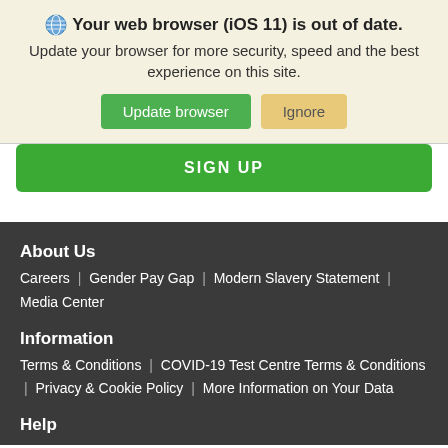🌐 Your web browser (iOS 11) is out of date. Update your browser for more security, speed and the best experience on this site.
Update browser | Ignore
SIGN UP
About Us
Careers | Gender Pay Gap | Modern Slavery Statement | Media Center
Information
Terms & Conditions | COVID-19 Test Centre Terms & Conditions | Privacy & Cookie Policy | More Information on Your Data
Help